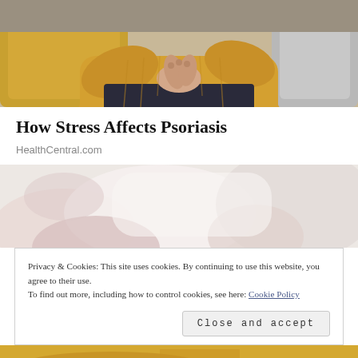[Figure (photo): Person sitting on couch wearing yellow sweater, hands clasped near chin, with yellow and grey pillows in background]
How Stress Affects Psoriasis
HealthCentral.com
[Figure (photo): Blurred/soft focus image, light pinkish and white tones, appears to show hands or skin]
Privacy & Cookies: This site uses cookies. By continuing to use this website, you agree to their use.
To find out more, including how to control cookies, see here: Cookie Policy
Close and accept
[Figure (photo): Partial view of person wearing yellow sweater at bottom of page]